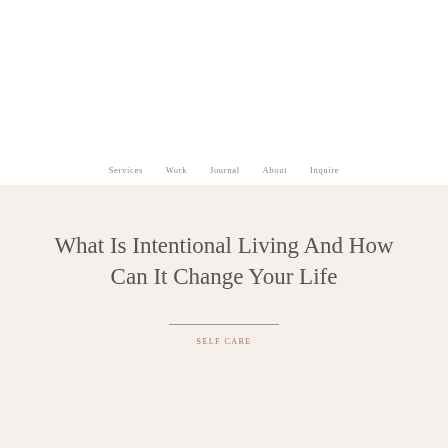Services  Work  Journal  About  Inquire
What Is Intentional Living And How Can It Change Your Life
SELF CARE